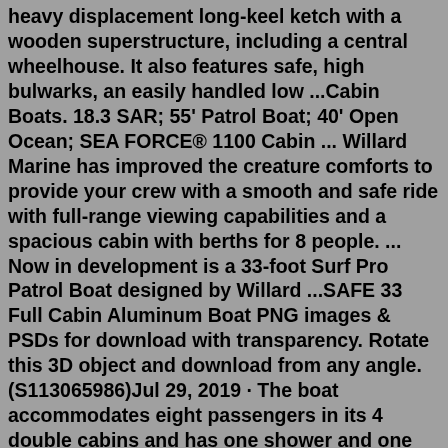heavy displacement long-keel ketch with a wooden superstructure, including a central wheelhouse. It also features safe, high bulwarks, an easily handled low ...Cabin Boats. 18.3 SAR; 55' Patrol Boat; 40' Open Ocean; SEA FORCE® 1100 Cabin ... Willard Marine has improved the creature comforts to provide your crew with a smooth and safe ride with full-range viewing capabilities and a spacious cabin with berths for 8 people. ... Now in development is a 33-foot Surf Pro Patrol Boat designed by Willard ...SAFE 33 Full Cabin Aluminum Boat PNG images & PSDs for download with transparency. Rotate this 3D object and download from any angle. (S113065986)Jul 29, 2019 · The boat accommodates eight passengers in its 4 double cabins and has one shower and one toilet. There are 2 single berths, a fully fitted galley and plenty of deck space. This boat comes with a full panoply of entertainment system including an iPod dock, CD player, TV/VCR, deck BBQ and more. 3 Cuddy Cabin Boats With High Resale Value Equipped with dual 565hp Caterpillar diesels the